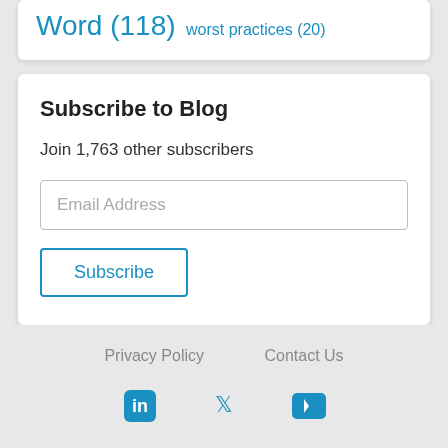Word (118) worst practices (20)
Subscribe to Blog
Join 1,763 other subscribers
Email Address
Subscribe
Privacy Policy   Contact Us